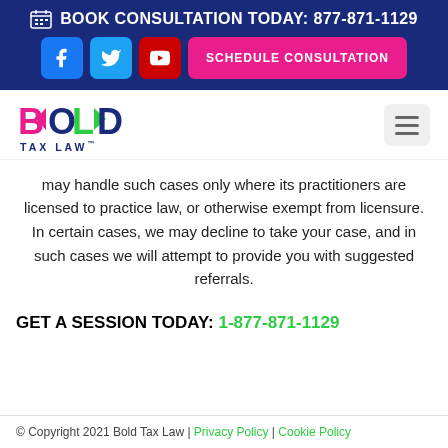BOOK CONSULTATION TODAY: 877-871-1129
[Figure (logo): Bold Tax Law logo with colorful arrows and text]
may handle such cases only where its practitioners are licensed to practice law, or otherwise exempt from licensure. In certain cases, we may decline to take your case, and in such cases we will attempt to provide you with suggested referrals.
GET A SESSION TODAY: 1-877-871-1129
© Copyright 2021 Bold Tax Law | Privacy Policy | Cookie Policy